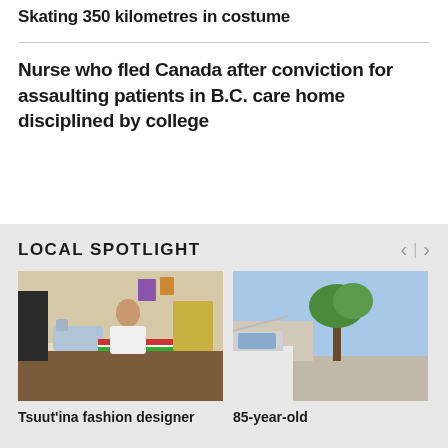Skating 350 kilometres in costume
Nurse who fled Canada after conviction for assaulting patients in B.C. care home disciplined by college
LOCAL SPOTLIGHT
[Figure (photo): A woman seated at a sewing machine working on fabric in a home studio]
Tsuut'ina fashion designer
[Figure (photo): Outdoor scene with a vehicle and trees]
85-year-old